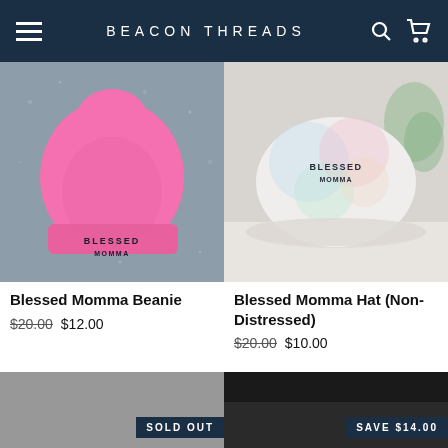BEACON THREADS
[Figure (photo): Pink Blessed Momma beanie hat on gray speckled surface]
Blessed Momma Beanie
$20.00  $12.00
[Figure (photo): Tie-dye Blessed Momma dad hat on white surface with plant in background]
Blessed Momma Hat (Non-Distressed)
$20.00  $10.00
[Figure (photo): Gray product image with SOLD OUT badge]
[Figure (photo): Dark product image with SAVE $14.00 badge]